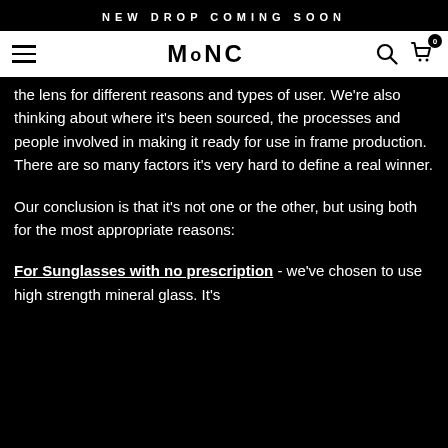NEW DROP COMING SOON
[Figure (logo): MONC logo with hamburger menu, search icon, and cart icon with badge 0]
the lens for different reasons and types of user. We're also thinking about where it's been sourced, the processes and people involved in making it ready for use in frame production. There are so many factors it's very hard to define a real winner.
Our conclusion is that it's not one or the other, but using both for the most appropriate reasons:
For Sunglasses with no prescription - we've chosen to use high strength mineral glass. It's